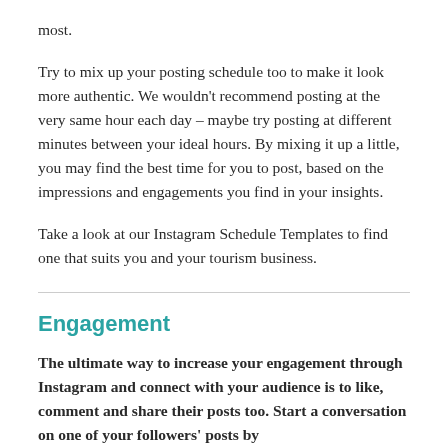most.
Try to mix up your posting schedule too to make it look more authentic. We wouldn't recommend posting at the very same hour each day – maybe try posting at different minutes between your ideal hours. By mixing it up a little, you may find the best time for you to post, based on the impressions and engagements you find in your insights.
Take a look at our Instagram Schedule Templates to find one that suits you and your tourism business.
Engagement
The ultimate way to increase your engagement through Instagram and connect with your audience is to like, comment and share their posts too. Start a conversation on one of your followers' posts by